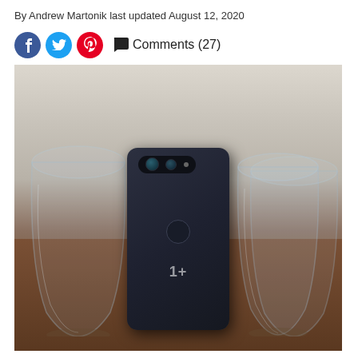By Andrew Martonik last updated August 12, 2020
Comments (27)
[Figure (photo): Back view of a OnePlus smartphone (dark navy/black color) standing upright between two stemless wine glasses on a wooden surface. The phone shows dual camera setup at top, fingerprint sensor, and OnePlus logo.]